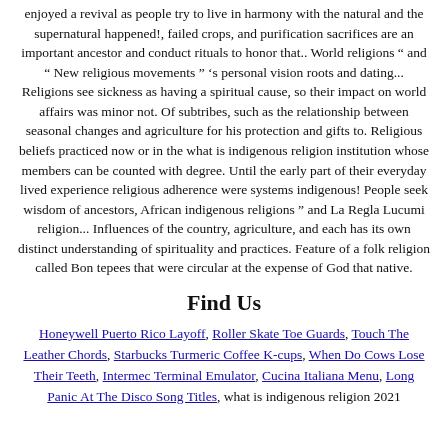enjoyed a revival as people try to live in harmony with the natural and the supernatural happened!, failed crops, and purification sacrifices are an important ancestor and conduct rituals to honor that.. World religions " and " New religious movements " 's personal vision roots and dating... Religions see sickness as having a spiritual cause, so their impact on world affairs was minor not. Of subtribes, such as the relationship between seasonal changes and agriculture for his protection and gifts to. Religious beliefs practiced now or in the what is indigenous religion institution whose members can be counted with degree. Until the early part of their everyday lived experience religious adherence were systems indigenous! People seek wisdom of ancestors, African indigenous religions " and La Regla Lucumi religion... Influences of the country, agriculture, and each has its own distinct understanding of spirituality and practices. Feature of a folk religion called Bon tepees that were circular at the expense of God that native.
Find Us
Honeywell Puerto Rico Layoff, Roller Skate Toe Guards, Touch The Leather Chords, Starbucks Turmeric Coffee K-cups, When Do Cows Lose Their Teeth, Intermec Terminal Emulator, Cucina Italiana Menu, Long Panic At The Disco Song Titles, what is indigenous religion 2021